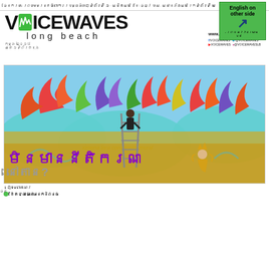Voice Waves Long Beach - Khmer language newspaper front page header with navigation text
VOICEWAVES long beach
www.voicewaves.org | Facebook: /VOICEWAVES | Twitter: @VOICEWAVES | YouTube: VOICEWAVES | Instagram: @VOICEWAVESLB
[Figure (photo): Cover art showing a mural painter on a ladder painting a colorful Cambodian-themed mural with lotus flowers, clouds, and traditional Apsara dancer figure. Vibrant colors including teal, orange, yellow, purple.]
មិនមាននីតិករណ – នៅតាន?
ខ្ញុំបព្ជគោរគោរគរ​ ​ ​…​ ​ ​ ​ ​ ​ ​ ​ ​ ​ ​ ​ ​ ​ ​ ​ ​
ចំពោះមូលហេតុដែលយើងប្ដូរ​ ​ ​ ​ ​ ​ ​ ​ ​ ​ ​ ​ ​ ​ ​ ​ ​
ការប្រយបារក កំពុងតើខេឡីង
ព័ ​ ​ ​ ​ ​ ​ ​ ​ ​ ​ ​ ​ ​ ​ ​ ​ ​ ​ ​ ​ ​
[Figure (photo): Industrial facility with American flag displayed, oil refinery or industrial plant]
[Figure (photo): Decorative lamp or lantern]
ការវិក្ខបន្ធែលស៊ើម
[Figure (photo): Two young men in professional attire, one in green shirt and one in suit]
ពំបិចព្រៃព្ចហ?
[Figure (photo): Woman with glasses in red top]